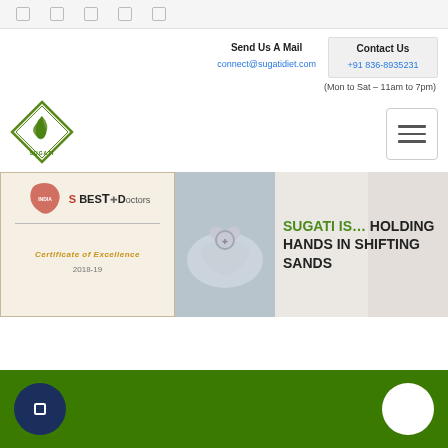Navigation icons row
Send Us A Mail
connect@sugatidiet.com
Contact Us
+91 836-8935231
(Mon to Sat - 11am to 7pm)
[Figure (logo): Sugati logo - green diamond shape with leaf/swan design and SUGATI text]
[Figure (screenshot): Hamburger menu button with three horizontal lines]
[Figure (photo): India's Best Doctors Certificate of Excellence 2018-19 banner with India map silhouette]
[Figure (photo): Hands holding a stethoscope heart shape image]
SUGATI IS... HOLDING HANDS IN SHIFTING SANDS
Green footer bar with dark blue circular button and white circular button